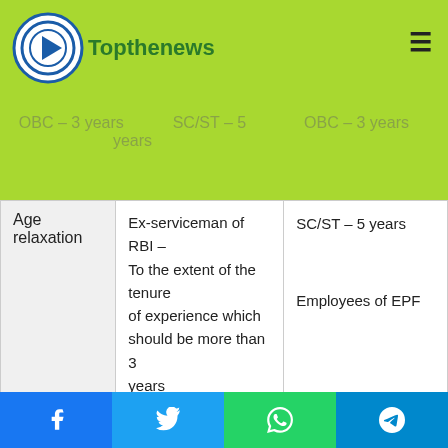[Figure (logo): Topthenews logo with circular icon and green text]
|  | OBC – 3 years / SC/ST – 5 years | OBC – 3 years |
| --- | --- | --- |
| Age relaxation | Ex-serviceman of RBI –
To the extent of the tenure of experience which should be more than 3 years | SC/ST – 5 years

Employees of EPF |
|  | 1. Class 10 passed

2. Undergraduate as of February 1, 2022. Any graduate and any othe higher degree holder are not eligible to apply | 1. Bachelors' De / Masters in Busine Administration/Pos Diploma in Management/Com |
Facebook | Twitter | WhatsApp | Telegram